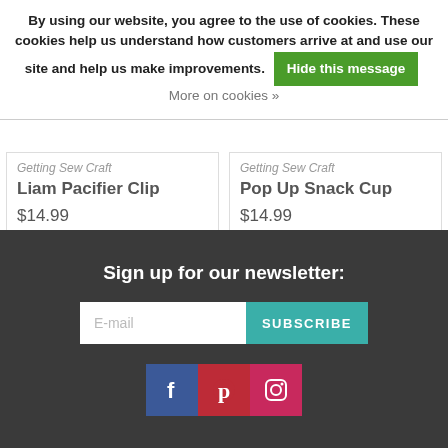By using our website, you agree to the use of cookies. These cookies help us understand how customers arrive at and use our site and help us make improvements. Hide this message More on cookies »
Getting Sew Craft
Liam Pacifier Clip
$14.99
Getting Sew Craft
Pop Up Snack Cup
$14.99
Sign up for our newsletter:
[Figure (screenshot): Newsletter signup form with E-mail input field and SUBSCRIBE button]
[Figure (infographic): Social media icons: Facebook (blue), Pinterest (red), Instagram (pink/red)]